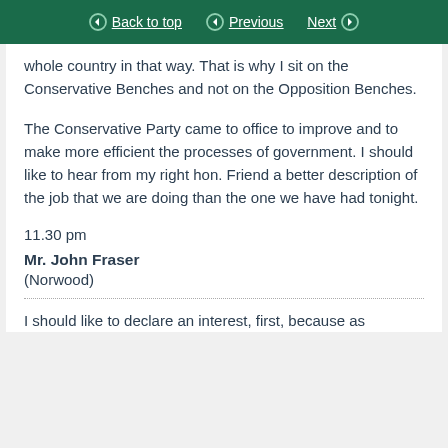Back to top | Previous | Next
whole country in that way. That is why I sit on the Conservative Benches and not on the Opposition Benches.
The Conservative Party came to office to improve and to make more efficient the processes of government. I should like to hear from my right hon. Friend a better description of the job that we are doing than the one we have had tonight.
11.30 pm
Mr. John Fraser
(Norwood)
I should like to declare an interest, first, because as